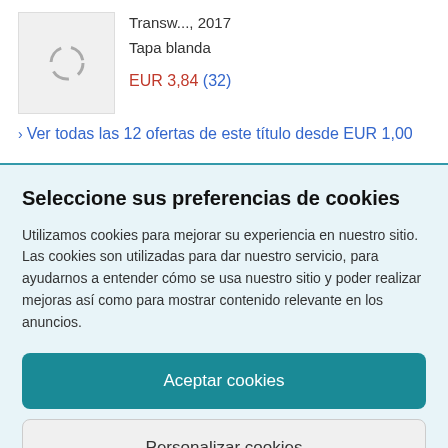Transw..., 2017
Tapa blanda
EUR 3,84 (32)
› Ver todas las 12 ofertas de este título desde EUR 1,00
Seleccione sus preferencias de cookies
Utilizamos cookies para mejorar su experiencia en nuestro sitio. Las cookies son utilizadas para dar nuestro servicio, para ayudarnos a entender cómo se usa nuestro sitio y poder realizar mejoras así como para mostrar contenido relevante en los anuncios.
Aceptar cookies
Personalizar cookies